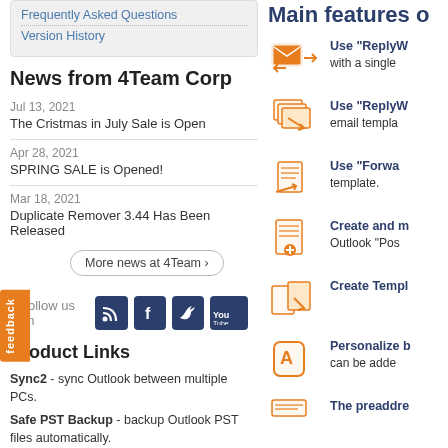Frequently Asked Questions
Version History
News from 4Team Corp
Jul 13, 2021
The Cristmas in July Sale is Open
Apr 28, 2021
SPRING SALE is Opened!
Mar 18, 2021
Duplicate Remover 3.44 Has Been Released
More news at 4Team
Follow us on
Product Links
Sync2 - sync Outlook between multiple PCs.
Safe PST Backup - backup Outlook PST files automatically.
Main features o
Use "ReplyW... with a single...
Use "ReplyW... email templa...
Use "Forwa... template.
Create and m... Outlook "Pos...
Create Templ...
Personalize b... can be adde...
The preaddre...